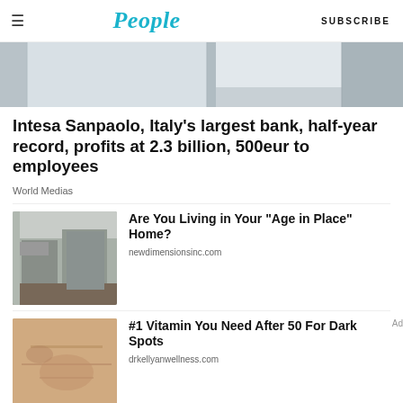People | SUBSCRIBE
[Figure (photo): Partial top image, light gray/white abstract surface, cropped]
Intesa Sanpaolo, Italy’s largest bank, half-year record, profits at 2.3 billion, 500eur to employees
World Medias
[Figure (photo): Kitchen with gray cabinets, stainless steel appliances, stove, refrigerator, wood floor]
Are You Living in Your “Age in Place” Home?
newdimensionsinc.com
[Figure (photo): Close-up of skin with dark spots and fine lines]
#1 Vitamin You Need After 50 For Dark Spots
drkellyanwellness.com
Ad